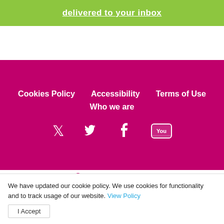delivered to your inbox
Cookies Policy   Accessibility   Terms of Use   Who we are
[Figure (logo): Carers in Derbyshire logo with stylized figures and hands in blue, magenta, and green]
© Carers in Derbyshire 2022
We have updated our cookie policy. We use cookies for functionality and to track usage of our website. View Policy   I Accept